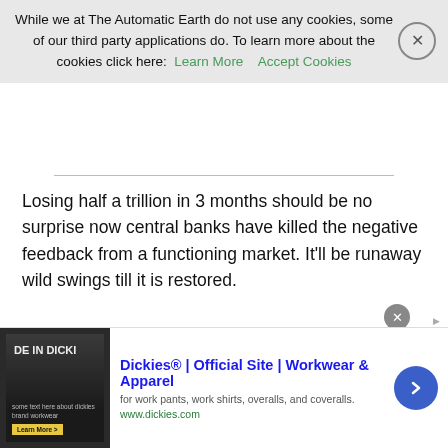New Brazil President Bolsonaro Launches Assault On Amazon Rainforest
While we at The Automatic Earth do not use any cookies, some of our third party applications do. To learn more about the cookies click here: Learn More   Accept Cookies
Losing half a trillion in 3 months should be no surprise now central banks have killed the negative feedback from a functioning market. It'll be runaway wild swings till it is restored.
Congratulations! Apple Loses Record $463 Billion in Market Cap in Three Months (Mish)
Apple set a record that will take a long time to beat. The first $ trillion company lost nearly half that in 3 months. On, August 2, Apple became the World's First Trillion-Dollar Company at $207.05 per share. Hooray! On October 3, Apple had a peak market cap of about
[Figure (screenshot): Advertisement banner for Dickies workwear showing logo image, title 'Dickies® | Official Site | Workwear & Apparel', description 'for work pants, work shirts, overalls, and coveralls.', URL 'www.dickies.com', and a blue arrow button]